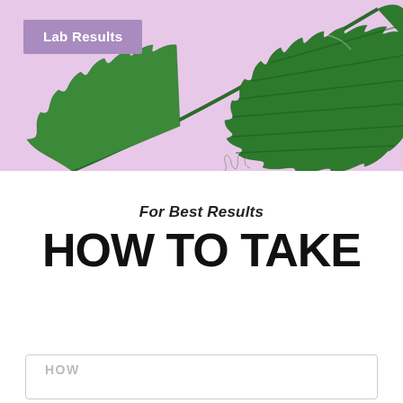[Figure (photo): Cannabis leaf on a light purple/pink background, viewed from above. A dark green serrated cannabis leaf is displayed prominently against a lavender-pink background.]
Lab Results
For Best Results
HOW TO TAKE
HOW